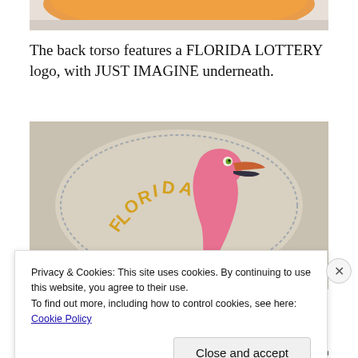[Figure (photo): Partial view of an orange fabric/hat brim at the top of the page]
The back torso features a FLORIDA LOTTERY logo, with JUST IMAGINE underneath.
[Figure (photo): Close-up photo of a jacket back showing embroidered Florida Lottery logo with a flamingo and the word FLORIDA in yellow/gold letters on a beige background]
Privacy & Cookies: This site uses cookies. By continuing to use this website, you agree to their use.
To find out more, including how to control cookies, see here: Cookie Policy
Close and accept